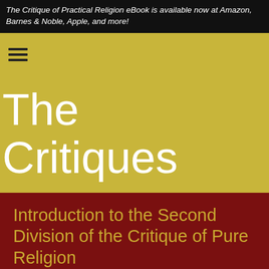The Critique of Practical Religion eBook is available now at Amazon, Barnes & Noble, Apple, and more!
[Figure (other): Hamburger menu icon (three horizontal lines) on a golden-yellow navigation bar]
The Critiques
Introduction to the Second Division of the Critique of Pure Religion
In the second division of the Critique of Pure Religion, the short story is written in simple and practical text as a religious argument that proposes the correct interpretation of the